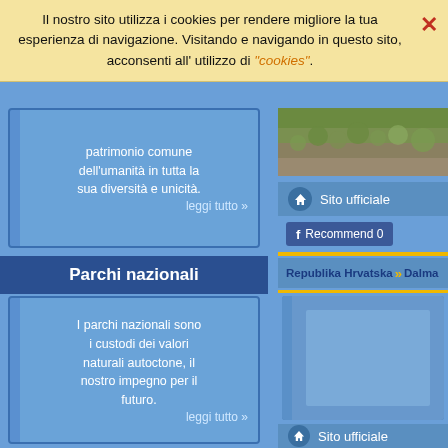Il nostro sito utilizza i cookies per rendere migliore la tua esperienza di navigazione. Visitando e navigando in questo sito, acconsenti all' utilizzo di "cookies".
patrimonio comune dell'umanità in tutta la sua diversità e unicità.
leggi tutto »
Parchi nazionali
I parchi nazionali sono i custodi dei valori naturali autoctone, il nostro impegno per il futuro.
leggi tutto »
[Figure (photo): Aerial or nature photo visible in top right area]
Sito ufficiale
Recommend 0
Republika Hrvatska » Dalma
Sito ufficiale